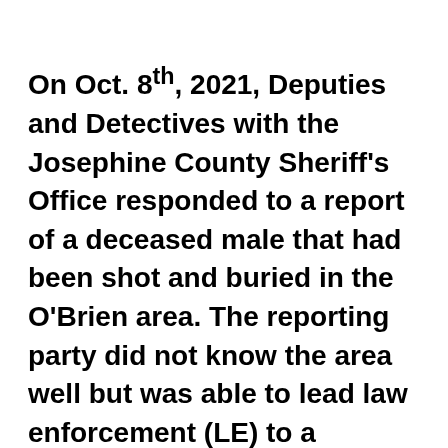On Oct. 8th, 2021, Deputies and Detectives with the Josephine County Sheriff's Office responded to a report of a deceased male that had been shot and buried in the O'Brien area. The reporting party did not know the area well but was able to lead law enforcement (LE) to a location off Samarkand Drive in O'Brien, Oregon.